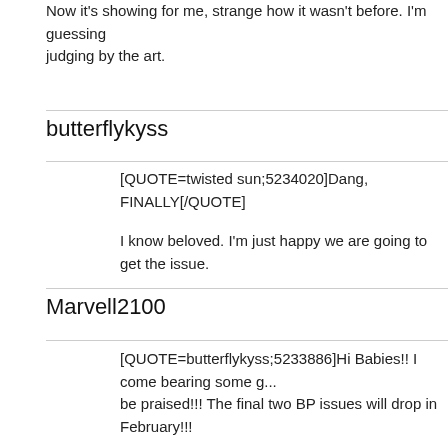Now it's showing for me, strange how it wasn't before. I'm guessing judging by the art.
butterflykyss
[QUOTE=twisted sun;5234020]Dang, FINALLY[/QUOTE]
I know beloved. I'm just happy we are going to get the issue.
Marvell2100
[QUOTE=butterflykyss;5233886]Hi Babies!! I come bearing some g... be praised!!! The final two BP issues will drop in February!!!
[url]https://mobile.twitter.com/Marvel/status/13284143146178396620
[img]https://pbs.twimg.com/media/Em95KpTW4Aw2GQ1?format=jp
[img]https://pbs.twimg.com/media/Em95LFDW8AozSTh?format=jpg